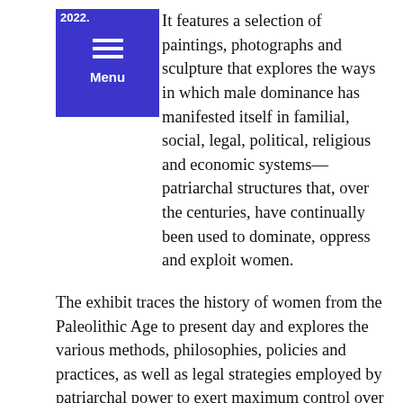2022. It features a selection of paintings, photographs and sculpture that explores the ways in which male dominance has manifested itself in familial, social, legal, political, religious and economic systems—patriarchal structures that, over the centuries, have continually been used to dominate, oppress and exploit women.
The exhibit traces the history of women from the Paleolithic Age to present day and explores the various methods, philosophies, policies and practices, as well as legal strategies employed by patriarchal power to exert maximum control over women's bodies.
“There is nothing revolutionary whatsoever about the control of women’s bodies by men,” said author, poet and feminist, Adrienne Rich. “The woman’s body is the terrain on which patriarchy is erected.”
Artists in this exhibit look at a range of topics including